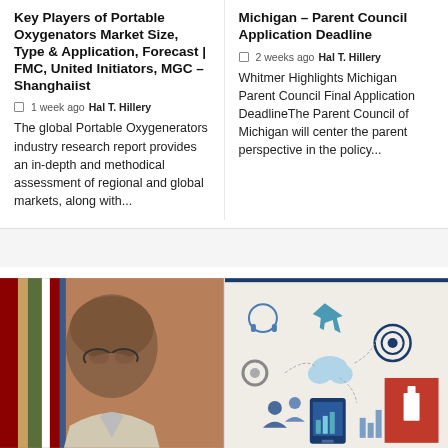Key Players of Portable Oxygenators Market Size, Type & Application, Forecast | FMC, United Initiators, MGC – Shanghaiist
1 week ago  Hal T. Hillery
The global Portable Oxygenerators industry research report provides an in-depth and methodical assessment of regional and global markets, along with...
Michigan – Parent Council Application Deadline
2 weeks ago  Hal T. Hillery
Whitmer Highlights Michigan Parent Council Final Application DeadlineThe Parent Council of Michigan will center the parent perspective in the policy...
[Figure (photo): Photo of a person wearing glasses and traditional patterned clothing, close-up portrait]
[Figure (infographic): Technology and business infographic with icons including headphones, airplane, gears, target, cloud, people, tablet, and charts. Red square accent with white icon in bottom right area.]